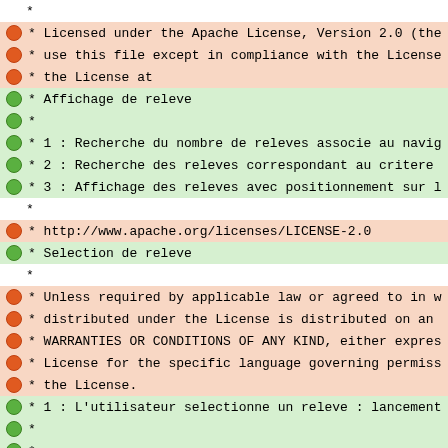*
* Licensed under the Apache License, Version 2.0 (the
* use this file except in compliance with the License
* the License at
* Affichage de releve
*
* 1 : Recherche du nombre de releves associe au navig
* 2 : Recherche des releves correspondant au critere
* 3 : Affichage des releves avec positionnement sur l
*
* http://www.apache.org/licenses/LICENSE-2.0
* Selection de releve
*
* Unless required by applicable law or agreed to in w
* distributed under the License is distributed on an
* WARRANTIES OR CONDITIONS OF ANY KIND, either expres
* License for the specific language governing permiss
* the License.
* 1 : L'utilisateur selectionne un releve : lancement
*
*
* Pagination :
*
* 1 : Avancement au seul d'une page